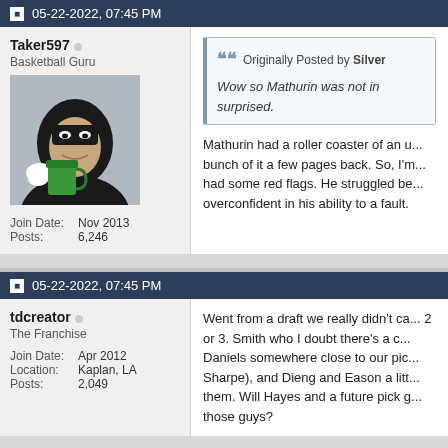05-22-2022, 07:45 PM
Taker597 — Basketball Guru — Join Date: Nov 2013 — Posts: 6,246
[Figure (photo): User avatar showing a cartoon character (black masked figure holding a green cup)]
Originally Posted by Silver — Wow so Mathurin was not in surprised.
Mathurin had a roller coaster of an u... bunch of it a few pages back. So, I'm... had some red flags. He struggled be... overconfident in his ability to a fault.
05-22-2022, 07:45 PM
tdcreator — The Franchise — Join Date: Apr 2012 — Location: Kaplan, LA — Posts: 2,049
Went from a draft we really didn't ca... 2 or 3. Smith who I doubt there's a c... Daniels somewhere close to our pic... Sharpe), and Dieng and Eason a litt... them. Will Hayes and a future pick g... those guys?